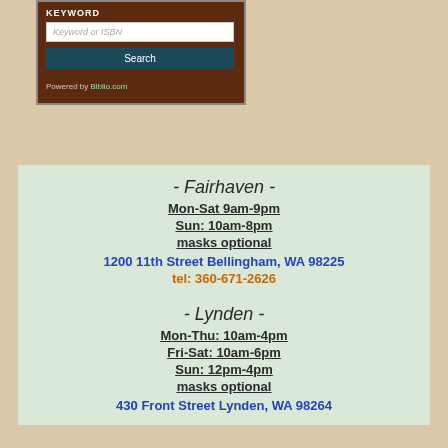[Figure (screenshot): Book search widget with KEYWORD label, text input for Keyword or ISBN, Search button, and Powered by Biblio.com link]
- Fairhaven -
Mon-Sat 9am-9pm
Sun: 10am-8pm
masks optional
1200 11th Street Bellingham, WA 98225
tel: 360-671-2626
- Lynden -
Mon-Thu: 10am-4pm
Fri-Sat: 10am-6pm
Sun: 12pm-4pm
masks optional
430 Front Street Lynden, WA 98264